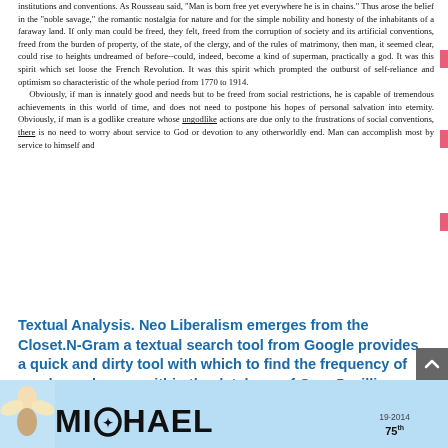institutions and conventions. As Rousseau said, "Man is born free yet everywhere he is in chains." Thus arose the belief in the "noble savage," the romantic nostalgia for nature and for the simple nobility and honesty of the inhabitants of a faraway land. If only man could be freed, they felt, freed from the corruption of society and its artificial conventions, freed from the burden of property, of the state, of the clergy, and of the rules of matrimony, then man, it seemed clear, could rise to heights undreamed of before--could, indeed, become a kind of superman, practically a god. It was this spirit which set loose the French Revolution. It was this spirit which prompted the outburst of self-reliance and optimism so characteristic of the whole period from 1770 to 1914.
  Obviously, if man is innately good and needs but to be freed from social restrictions, he is capable of tremendous achievements in this world of time, and does not need to postpone his hopes of personal salvation into eternity. Obviously, if man is a godlike creature whose ungodlike actions are due only to the frustrations of social conventions, there is no need to worry about service to God or devotion to any otherworldly end. Man can accomplish most by service to himself and
Textual Analysis. Neo Liberalism emerges from the Closet.N-Gram a textual search tool from Google provides a quick and dirty tool with which to find the frequency of words or phrases within the database of Over 5 million books containing500 billion words...https://notthegrubstreetjournal.com/2017/04/25/textual-analysis-neo-liberalism-emerges-from-the-closet/
#MOABS
[Figure (photo): Bottom banner image showing a light blue background with the large bold text 'MICHAEL' (with a circular emblem replacing the letter O), a small angel illustration on the left, and a year/anniversary notation on the right showing '19·2014' and '75th'.]